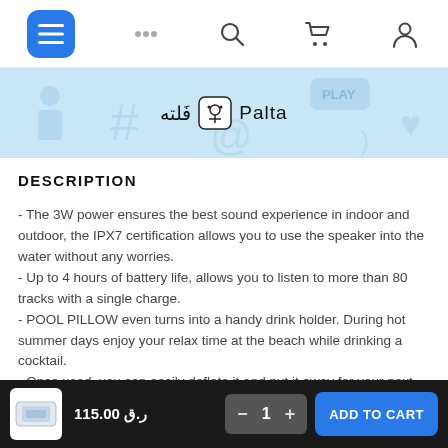Navigation bar with menu, more options, search, cart, and account icons
[Figure (logo): Faltah / Palto store banner logo on light blue background with decorative icons]
DESCRIPTION
- The 3W power ensures the best sound experience in indoor and outdoor, the IPX7 certification allows you to use the speaker into the water without any worries.
- Up to 4 hours of battery life, allows you to listen to more than 80 tracks with a single charge.
- POOL PILLOW even turns into a handy drink holder. During hot summer days enjoy your relax time at the beach while drinking a cocktail.
- Once used, you can easily deflate it and put it away for your next trip to the beach!
ر.ق 115.00  —  1  +  ADD TO CART